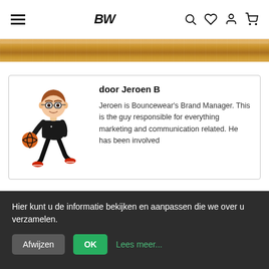BW (logo with hamburger menu and nav icons)
[Figure (illustration): Wooden basketball court floor banner image]
[Figure (illustration): Bitmoji cartoon of a person dribbling a basketball, wearing black outfit and red shoes]
door Jeroen B
Jeroen is Bouncewear's Brand Manager. This is the guy responsible for everything marketing and communication related. He has been involved
Hier kunt u de informatie bekijken en aanpassen die we over u verzamelen.
Afwijzen  OK  Lees meer...